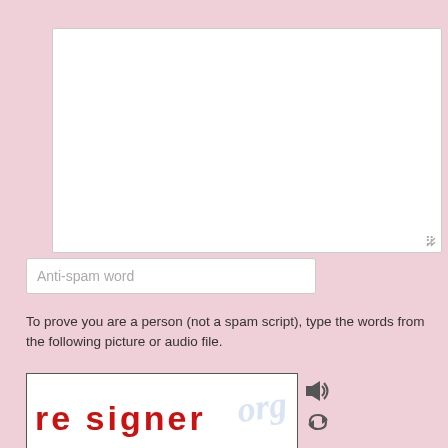[Figure (screenshot): Large empty textarea input field with resize handle in bottom right corner, white background with light gray border]
[Figure (screenshot): Anti-spam word text input field with placeholder text 'Anti-spam word', white background with gray border]
To prove you are a person (not a spam script), type the words from the following picture or audio file.
[Figure (screenshot): CAPTCHA image showing the text 're signer' in red handwritten-style font with blue watermark text in the background, bordered box with audio and refresh icons to the right]
Name *
Email *